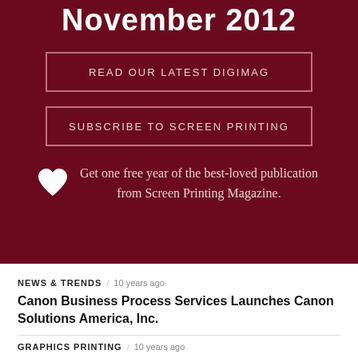November 2012
READ OUR LATEST DIGIMAG
SUBSCRIBE TO SCREEN PRINTING
Get one free year of the best-loved publication from Screen Printing Magazine.
NEWS & TRENDS / 10 years ago
Canon Business Process Services Launches Canon Solutions America, Inc.
GRAPHICS PRINTING / 10 years ago